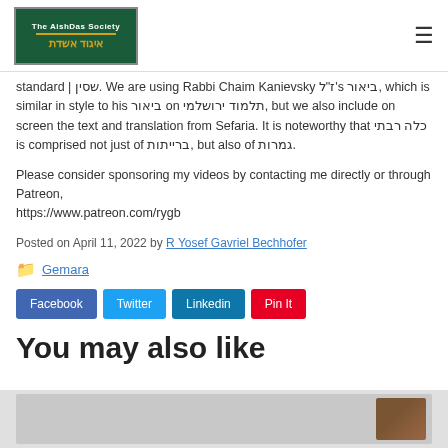The AishDas Society / איגוד אשדת
standard | שסין. We are using Rabbi Chaim Kanievsky ז'ל ז'ל ביאור, which is similar in style to his ביאור on תלמוד ירושלמי, but we also include on screen the text and translation from Sefaria. It is noteworthy that כלה רבתי is comprised not just of ברייתות, but also of גמרות.
Please consider sponsoring my videos by contacting me directly or through Patreon, https://www.patreon.com/rygb
Posted on April 11, 2022 by R Yosef Gavriel Bechhofer
Gemara
Facebook  Twitter  Linkedin  Pin It
You may also like
[Figure (screenshot): Preview thumbnail of a video screenshot]